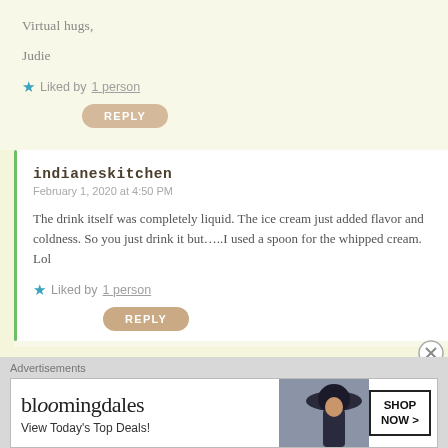Virtual hugs,
Judie
★ Liked by 1 person
REPLY
indianeskitchen
February 1, 2020 at 4:50 PM
The drink itself was completely liquid. The ice cream just added flavor and coldness. So you just drink it but…..I used a spoon for the whipped cream. Lol
★ Liked by 1 person
REPLY
Advertisements
[Figure (other): Bloomingdales advertisement banner with logo, tagline 'View Today's Top Deals!', a woman wearing a wide-brim hat, and a 'SHOP NOW >' button.]